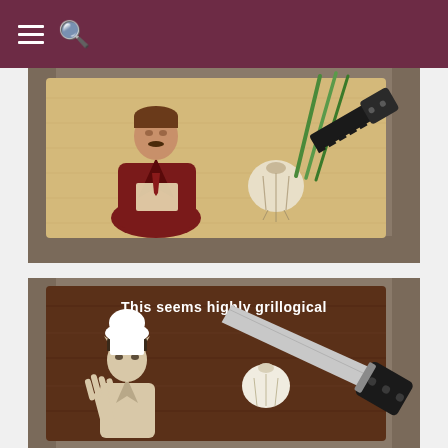Navigation header with menu and search icons
[Figure (photo): A light wood cutting board with a red silhouette portrait of a newscaster character holding papers, with a garlic bulb, green onions, and a black serrated knife resting on it, placed on a stone surface.]
[Figure (photo): A dark walnut-stained cutting board with white text reading 'This seems highly grillogical' and a white silhouette of a Star Trek Spock character doing the Vulcan salute, with a garlic bulb and a large chef's knife resting on the board, on a stone surface.]